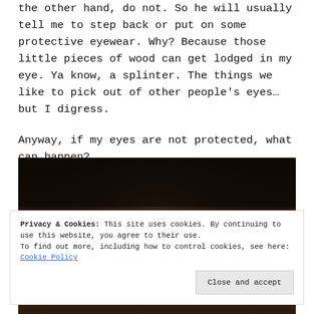the other hand, do not. So he will usually tell me to step back or put on some protective eyewear. Why? Because those little pieces of wood can get lodged in my eye. Ya know, a splinter. The things we like to pick out of other people's eyes…but I digress.
Anyway, if my eyes are not protected, what can happen?
I could blind myself.
[Figure (photo): Dark photograph, mostly brown and black tones, appears to be an outdoor or nature scene]
Privacy & Cookies: This site uses cookies. By continuing to use this website, you agree to their use.
To find out more, including how to control cookies, see here: Cookie Policy
Close and accept